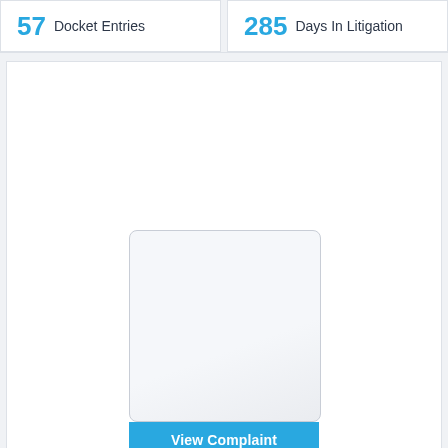57 Docket Entries
285 Days In Litigation
[Figure (screenshot): Document preview panel showing a blank white/light gray document thumbnail with a 'View Complaint' button at the bottom in blue.]